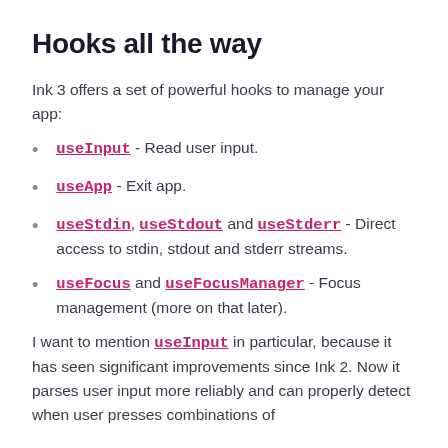Hooks all the way
Ink 3 offers a set of powerful hooks to manage your app:
useInput - Read user input.
useApp - Exit app.
useStdin, useStdout and useStderr - Direct access to stdin, stdout and stderr streams.
useFocus and useFocusManager - Focus management (more on that later).
I want to mention useInput in particular, because it has seen significant improvements since Ink 2. Now it parses user input more reliably and can properly detect when user presses combinations of